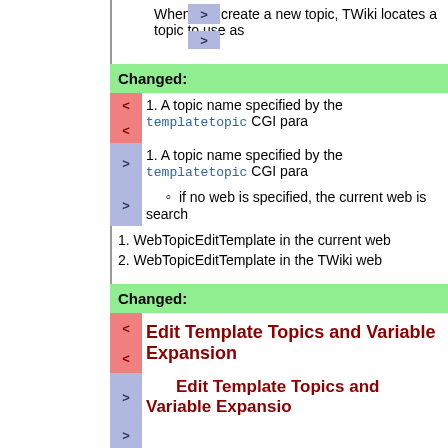When you create a new topic, TWiki locates a topic to use as
Changed:
1. A topic name specified by the templatetopic CGI para
1. A topic name specified by the templatetopic CGI para
if no web is specified, the current web is search
1. WebTopicEditTemplate in the current web
2. WebTopicEditTemplate in the TWiki web
Changed:
Edit Template Topics and Variable Expansion
Edit Template Topics and Variable Expansion
The following variables get expanded when a user creates a